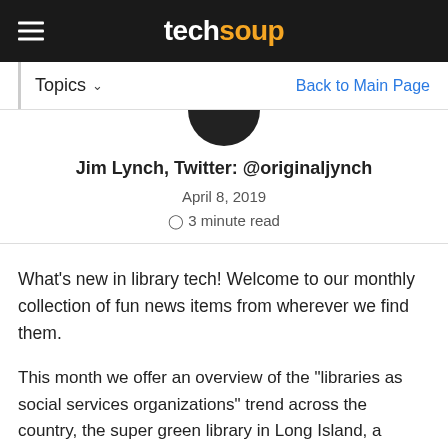techsoup
Topics ∨
Back to Main Page
[Figure (photo): Partial avatar image of Jim Lynch shown from below, dark circular shape]
Jim Lynch, Twitter: @originaljynch
April 8, 2019
⊙ 3 minute read
What's new in library tech! Welcome to our monthly collection of fun news items from wherever we find them.
This month we offer an overview of the "libraries as social services organizations" trend across the country, the super green library in Long Island, a heads-up on the Save the Internet Act of 2019, librarian David Lee King's emerging trends for 2019, and more — plus the life story of life...